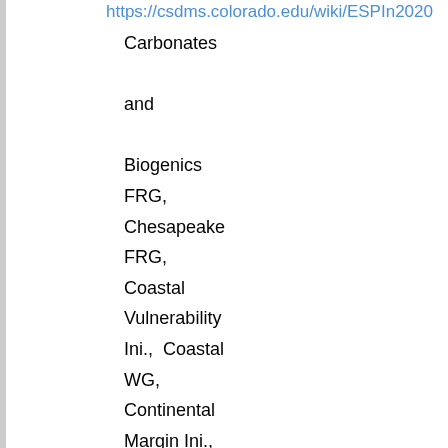https://csdms.colorado.edu/wiki/ESPIn2020
Carbonates and Biogenics FRG, Chesapeake FRG, Coastal Vulnerability Ini., Coastal WG, Continental Margin Ini., Critical Zone FRG, Cyber WG, EKT WG, Ecosystem Dynamics FRG,